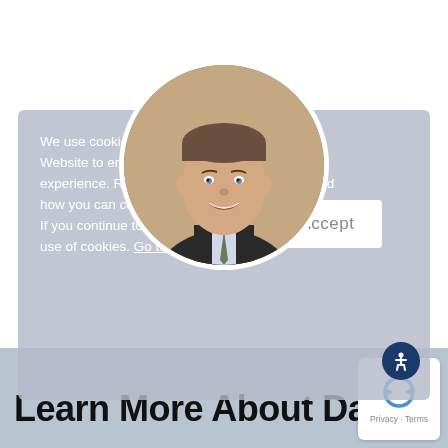[Figure (photo): Circular profile photo of a man in a suit, smiling, overlapping a cookie consent banner]
We use cookies and similar technologies on our Website to ensure you the best browsing experience. Read about how we use cookies and how you can control them in our Privacy Statement. If you continue to use this site, you consent to our use of cookies. Go to Privacy
Accept
Learn More About Dan
[Figure (logo): reCAPTCHA badge with Privacy and Terms links]